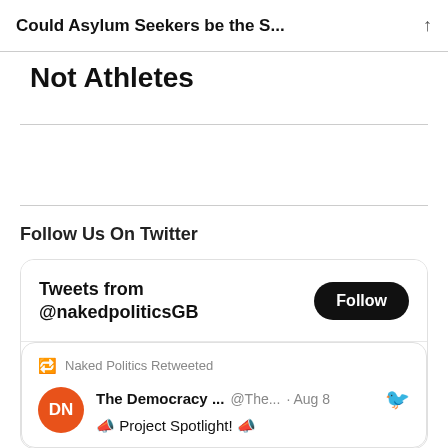Could Asylum Seekers be the S...
Not Athletes
Follow Us On Twitter
Tweets from @nakedpoliticsGB
Naked Politics Retweeted
The Democracy ... @The... · Aug 8  📣 Project Spotlight! 📣